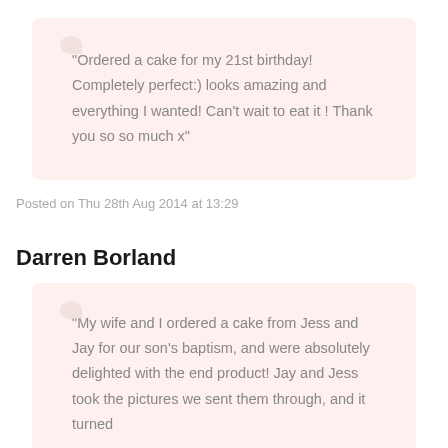“Ordered a cake for my 21st birthday! Completely perfect:) looks amazing and everything I wanted! Can't wait to eat it ! Thank you so so much x”
Posted on Thu 28th Aug 2014 at 13:29
Darren Borland
“My wife and I ordered a cake from Jess and Jay for our son’s baptism, and were absolutely delighted with the end product! Jay and Jess took the pictures we sent them through, and it turned